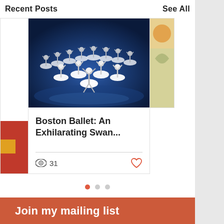Recent Posts    See All
[Figure (photo): Ballet performance photo showing many ballerinas in white tutus on a blue-lit stage, arranged in a formation]
Boston Ballet: An Exhilarating Swan...
31
Join my mailing list